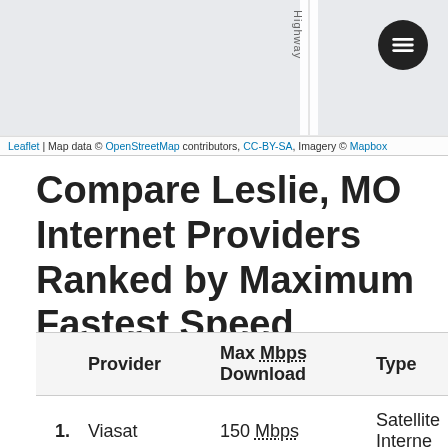[Figure (map): Partial map view showing a road labeled 'Highway' with a menu button icon in the top right corner, on a light gray map background.]
Leaflet | Map data © OpenStreetMap contributors, CC-BY-SA, Imagery © Mapbox
Compare Leslie, MO Internet Providers Ranked by Maximum Fastest Speed
|  | Provider | Max Mbps Download | Type |
| --- | --- | --- | --- |
| 1. | Viasat | 150 Mbps | Satellite Interne... |
| 2. | EarthLink | 75 Mbps | Fiber Internet a... |
| 3. | HughesNet | 25 Mbps | Satellite Interne... |